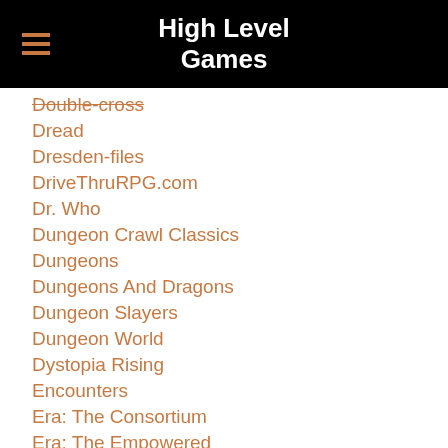High Level Games
Double-cross
Dread
Dresden-files
DriveThruRPG.com
Dr. Who
Dungeon Crawl Classics
Dungeons
Dungeons And Dragons
Dungeon Slayers
Dungeon World
Dystopia Rising
Encounters
Era: The Consortium
Era: The Empowered
Esper Genesis
Evil Hat